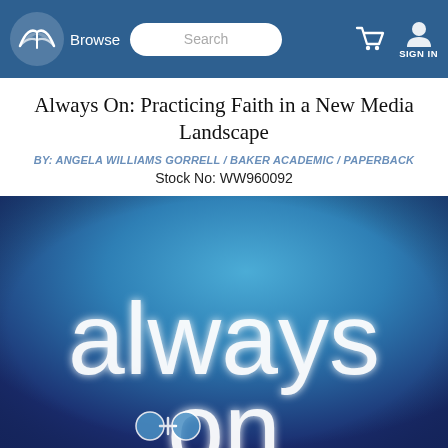Browse | Search | SIGN IN
Always On: Practicing Faith in a New Media Landscape
BY: ANGELA WILLIAMS GORRELL / BAKER ACADEMIC / PAPERBACK
Stock No: WW960092
[Figure (photo): Book cover for 'Always On: Practicing Faith in a New Media Landscape' showing a blue gradient background with large white glowing text reading 'always on' and social media icons at the bottom]